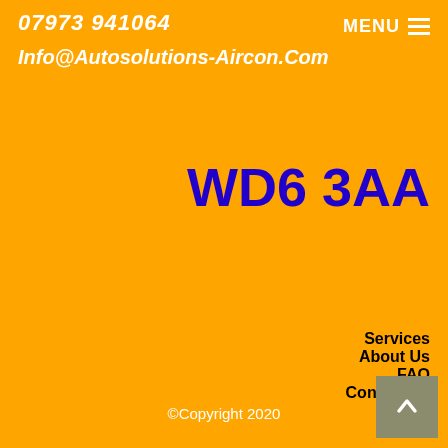07973 941064
Info@Autosolutions-Aircon.Com
MENU
WD6 3AA
Services
About Us
FAQ
Contact Us
©Copyright 2020